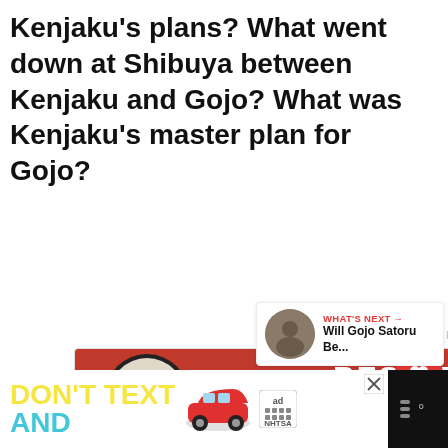Kenjaku's plans? What went down at Shibuya between Kenjaku and Gojo? What was Kenjaku's master plan for Gojo?
[Figure (screenshot): Advertisement banner with pink/red background showing two cats and text 'BEST FRIENDS FOREVER' with heart symbols]
[Figure (screenshot): What's Next panel showing a thumbnail image and text: 'WHAT'S NEXT → Will Gojo Satoru Be...']
[Figure (screenshot): Bottom advertisement banner on black background showing 'DON'T TEXT AND' with red car graphic and NHTSA ad badge]